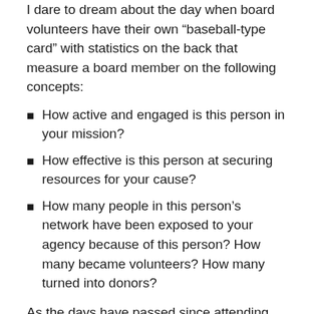I dare to dream about the day when board volunteers have their own “baseball-type card” with statistics on the back that measure a board member on the following concepts:
How active and engaged is this person in your mission?
How effective is this person at securing resources for your cause?
How many people in this person’s network have been exposed to your agency because of this person? How many became volunteers? How many turned into donors?
As the days have passed since attending this session, I now realize that smart non-profit thought leaders are working on projects like this. Of course, the board development metrics out there aren’t as fancy as what baseball scouts use, but here are a few interesting